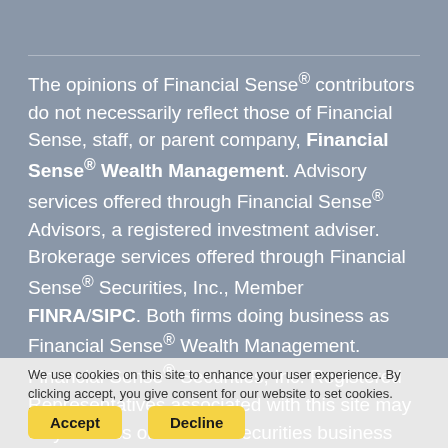The opinions of Financial Sense® contributors do not necessarily reflect those of Financial Sense, staff, or parent company, Financial Sense® Wealth Management. Advisory services offered through Financial Sense® Advisors, a registered investment adviser. Brokerage services offered through Financial Sense® Securities, Inc., Member FINRA/SIPC. Both firms doing business as Financial Sense® Wealth Management. Financial Sense® Securities, Inc. Registered Representatives associated with this site may only discuss or transact securities business with
We use cookies on this site to enhance your user experience. By clicking accept, you give consent for our website to set cookies. More info
Accept
Decline